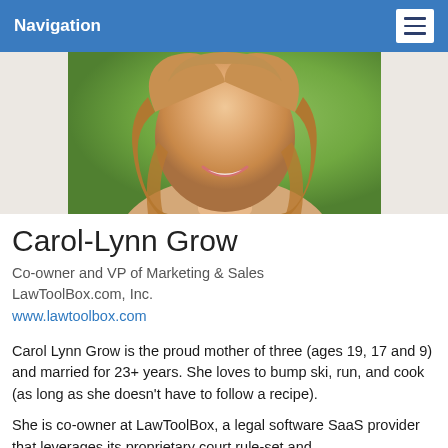Navigation
[Figure (photo): Cropped photo of Carol-Lynn Grow smiling, showing lower face and hair against a green background]
Carol-Lynn Grow
Co-owner and VP of Marketing & Sales
LawToolBox.com, Inc.
www.lawtoolbox.com
Carol Lynn Grow is the proud mother of three (ages 19, 17 and 9) and married for 23+ years. She loves to bump ski, run, and cook (as long as she doesn't have to follow a recipe).
She is co-owner at LawToolBox, a legal software SaaS provider that leverages its proprietary court rule-set and